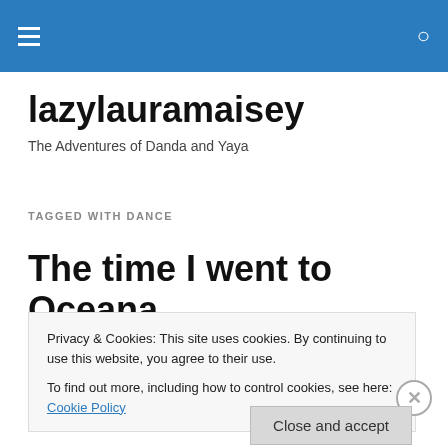lazylauramaisey — site header navigation
lazylauramaisey
The Adventures of Danda and Yaya
TAGGED WITH DANCE
The time I went to Oceana
I dislike clubbing, so I don't really drink, so and ...
Privacy & Cookies: This site uses cookies. By continuing to use this website, you agree to their use.
To find out more, including how to control cookies, see here: Cookie Policy
Close and accept